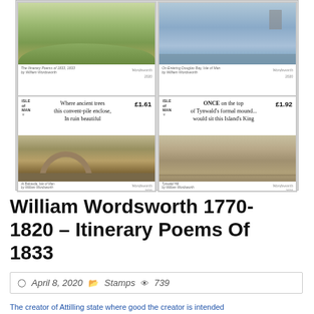[Figure (photo): Sheet of four Isle of Man stamps featuring William Wordsworth Itinerary Poems of 1833. Top-left stamp shows landscape painting with £1.61 price and poem text 'Where ancient trees this convent-pile enclose, In ruin beautiful'. Top-right stamp shows sea/castle scene with £1.92 price and poem text 'ONCE on the top of Tynwald's formal mound...would sit this Island's King'. Bottom-left stamp shows stone bridge scene at Ballavada. Bottom-right stamp shows Tynwald Hill outdoor gathering scene. All stamps feature Wordsworth signature and Isle of Man branding.]
William Wordsworth 1770-1820 – Itinerary Poems Of 1833
April 8, 2020  Stamps  739
The creator of Attilling state where good the creator is intended